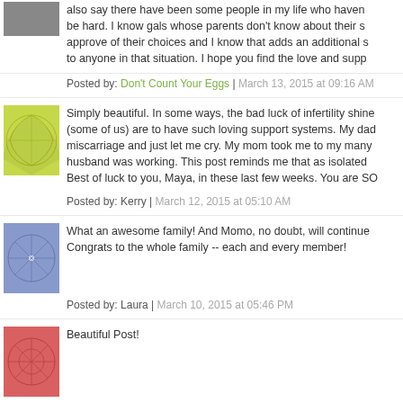also say there have been some people in my life who haven be hard. I know gals whose parents don't know about their s approve of their choices and I know that adds an additional s to anyone in that situation. I hope you find the love and supp
Posted by: Don't Count Your Eggs | March 13, 2015 at 09:16 AM
Simply beautiful. In some ways, the bad luck of infertility shines (some of us) are to have such loving support systems. My dad miscarriage and just let me cry. My mom took me to my many husband was working. This post reminds me that as isolated Best of luck to you, Maya, in these last few weeks. You are SO
Posted by: Kerry | March 12, 2015 at 05:10 AM
What an awesome family! And Momo, no doubt, will continue Congrats to the whole family -- each and every member!
Posted by: Laura | March 10, 2015 at 05:46 PM
Beautiful Post!
Posted by: Julie | March 10, 2015 at 10:34 AM